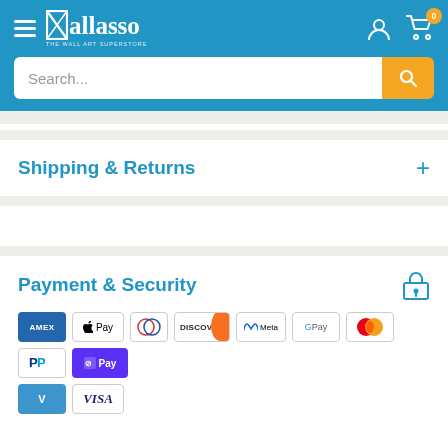Wallasso — The Wall Art Superstore header with search bar
Shipping & Returns
Payment & Security
[Figure (infographic): Row of payment method icons: AMEX, Apple Pay, Diners Club, Discover, Meta Pay, Google Pay, Mastercard, PayPal, Shop Pay, Venmo, Visa]